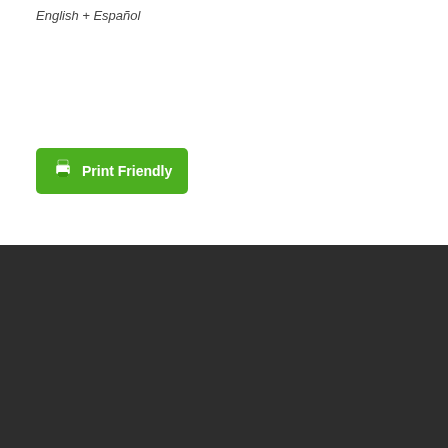English + Español
[Figure (other): Print Friendly green button with printer icon]
Home
About
Contact